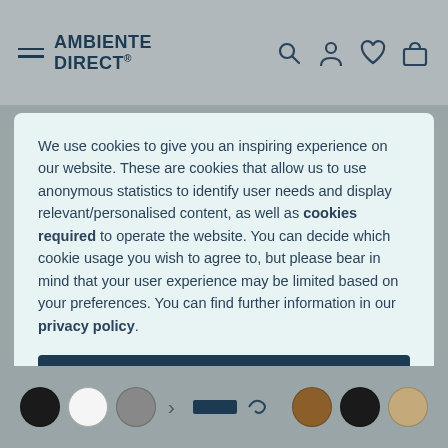AMBIENTE DIRECT
We use cookies to give you an inspiring experience on our website. These are cookies that allow us to use anonymous statistics to identify user needs and display relevant/personalised content, as well as cookies required to operate the website. You can decide which cookie usage you wish to agree to, but please bear in mind that your user experience may be limited based on your preferences. You can find further information in our privacy policy.
Accept All
Manage